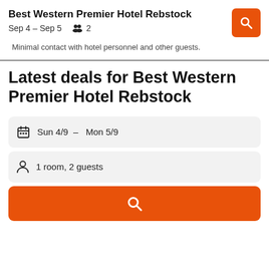Best Western Premier Hotel Rebstock
Sep 4 – Sep 5  👥 2
Minimal contact with hotel personnel and other guests.
Latest deals for Best Western Premier Hotel Rebstock
Sun 4/9 – Mon 5/9
1 room, 2 guests